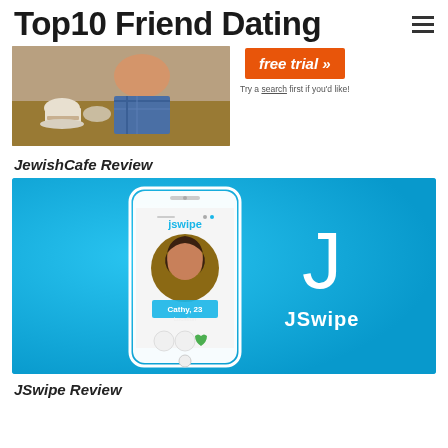Top10 Friend Dating
[Figure (photo): Person at a cafe table with coffee cups, wearing a plaid shirt]
free trial » Try a search first if you'd like!
JewishCafe Review
[Figure (screenshot): JSwipe app promotional image on blue background showing a smartphone with the JSwipe app interface displaying a profile of Cathy, 23, and the JSwipe logo with a large J letter]
JSwipe Review